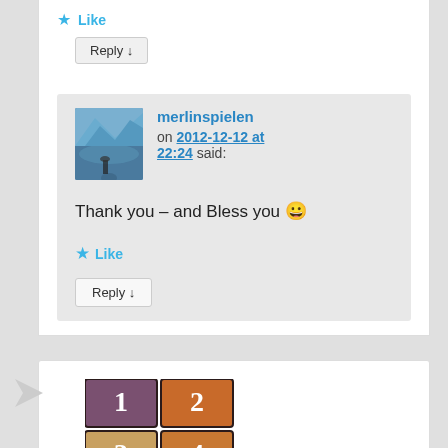★ Like
Reply ↓
merlinspielen on 2012-12-12 at 22:24 said:
Thank you – and Bless you 🙂
★ Like
Reply ↓
[Figure (screenshot): A 2x2 grid icon with numbers 1,2,3,4 in purple and orange squares]